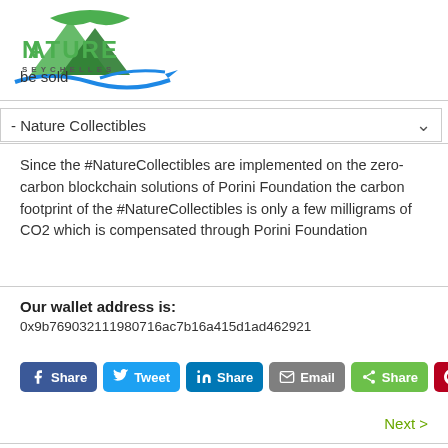[Figure (logo): Nature Seychelles logo with green mountain/bird silhouette and blue wave element]
be sold
- Nature Collectibles
Since the #NatureCollectibles are implemented on the zero-carbon blockchain solutions of Porini Foundation the carbon footprint of the #NatureCollectibles is only a few milligrams of CO2 which is compensated through Porini Foundation
Our wallet address is:
0x9b769032111980716ac7b16a415d1ad462921
Next >